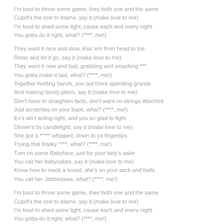I'm bout to throw some game, they both one and the same
Cupid's the one to blame, say it (make love to me)
I'm bout to shed some light, cause each and every night
You gotta do it right, what? (****, me!)
They want it nice and slow, kiss 'em from head to toe
Relax and let it go, say it (make love to me)
They want it now and fast, grabbing and smacking ***
You gotta make it last, what? (****, me!)
Together holding hands, you out there spending grands
And making family plans, say it (make love to me)
Don't have to straighten facts, don't want no strings attached
Just scratches on your back, what? (****, me!)
Ex's ain't acting right, and you so glad to fight
Dinner's by candlelight, say it (make love to me)
She got a ***** whipped, down to ya fingertips
Trying that freaky ****, what? (****, me!)
Turn on some Babyface, just for your lady's sake
You call her babycakes, say it (make love to me)
Know how to mack a broad, she's on your sack and balls
You call her Jabberjaws, what? (****, me!)
I'm bout to throw some game, they both one and the same
Cupid's the one to blame, say it (make love to me)
I'm bout to shed some light, cause each and every night
You gotta do it right, what? (****, me!)
I'm bout to throw some game, they both one and the same
Cupid's the one to blame, say it (make love to me)
I'm bout to shed some light, cause each and every night
You gotta do it right, what? (****, me!)